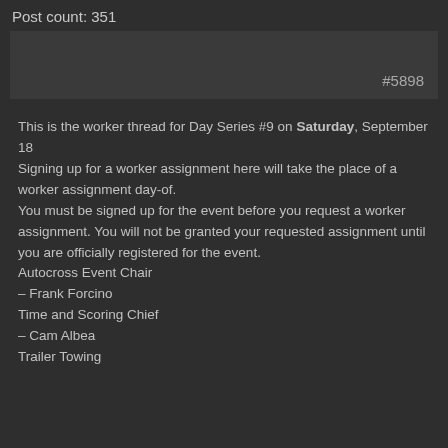Post count: 351
#5898
This is the worker thread for Day Series #9 on Saturday, September 18
Signing up for a worker assignment here will take the place of a worker assignment day-of.
You must be signed up for the event before you request a worker assignment. You will not be granted your requested assignment until you are officially registered for the event.
Autocross Event Chair
– Frank Forcino
Time and Scoring Chief
– Cam Albea
Trailer Towing